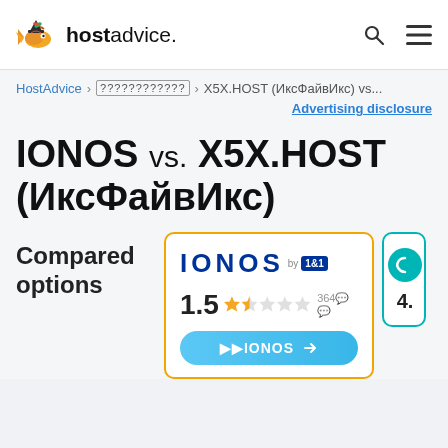hostadvice.
HostAdvice > ???????????? > X5X.HOST (ИксФайвИкс) vs...
Advertising disclosure
IONOS vs. X5X.HOST (ИксФайвИкс)
Compared options
[Figure (logo): IONOS by 1&1 logo with rating 1.5 stars out of 5 from 364 reviews, and a button to visit IONOS]
[Figure (logo): Second provider logo (partially visible), rating 4.x]